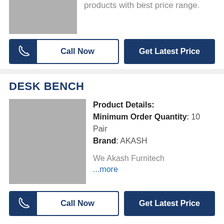products with best price range.
Call Now
Get Latest Price
DESK BENCH
Product Details: Minimum Order Quantity: 10 Pair Brand: AKASH We Akash Furnitech ...more
Call Now
Get Latest Price